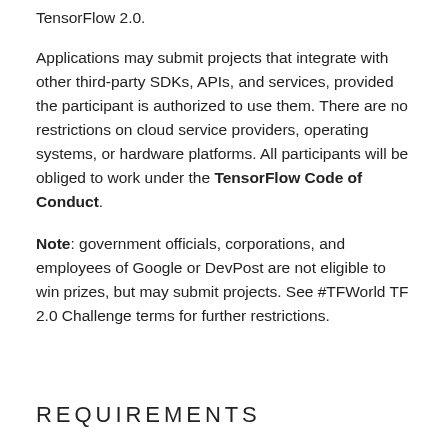TensorFlow 2.0.
Applications may submit projects that integrate with other third-party SDKs, APIs, and services, provided the participant is authorized to use them. There are no restrictions on cloud service providers, operating systems, or hardware platforms. All participants will be obliged to work under the TensorFlow Code of Conduct.
Note: government officials, corporations, and employees of Google or DevPost are not eligible to win prizes, but may submit projects. See #TFWorld TF 2.0 Challenge terms for further restrictions.
REQUIREMENTS